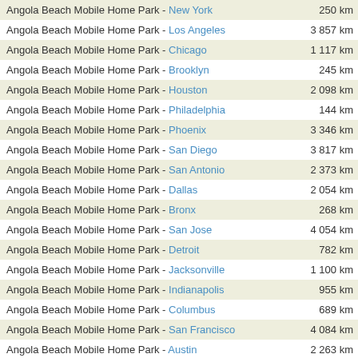| Route | Distance |
| --- | --- |
| Angola Beach Mobile Home Park - New York | 250 km |
| Angola Beach Mobile Home Park - Los Angeles | 3 857 km |
| Angola Beach Mobile Home Park - Chicago | 1 117 km |
| Angola Beach Mobile Home Park - Brooklyn | 245 km |
| Angola Beach Mobile Home Park - Houston | 2 098 km |
| Angola Beach Mobile Home Park - Philadelphia | 144 km |
| Angola Beach Mobile Home Park - Phoenix | 3 346 km |
| Angola Beach Mobile Home Park - San Diego | 3 817 km |
| Angola Beach Mobile Home Park - San Antonio | 2 373 km |
| Angola Beach Mobile Home Park - Dallas | 2 054 km |
| Angola Beach Mobile Home Park - Bronx | 268 km |
| Angola Beach Mobile Home Park - San Jose | 4 054 km |
| Angola Beach Mobile Home Park - Detroit | 782 km |
| Angola Beach Mobile Home Park - Jacksonville | 1 100 km |
| Angola Beach Mobile Home Park - Indianapolis | 955 km |
| Angola Beach Mobile Home Park - Columbus | 689 km |
| Angola Beach Mobile Home Park - San Francisco | 4 084 km |
| Angola Beach Mobile Home Park - Austin | 2 263 km |
| Angola Beach Mobile Home Park - Memphis | 1 395 km |
| Angola Beach Mobile Home Park - Memphis | 1 378 km |
| Angola Beach Mobile Home Park - New South Memphis | 1 381 km |
| Angola Beach Mobile Home Park - Fort Worth | 2 101 km |
| Angola Beach Mobile Home Park - Baltimore | 144 km |
| Angola Beach Mobile Home Park - Charlotte | 632 km |